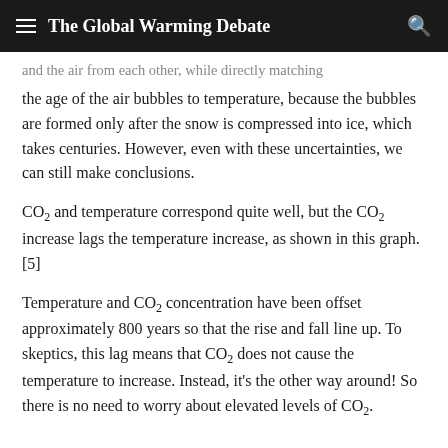The Global Warming Debate
and the air from each other, while directly matching the age of the air bubbles to temperature, because the bubbles are formed only after the snow is compressed into ice, which takes centuries. However, even with these uncertainties, we can still make conclusions.
CO₂ and temperature correspond quite well, but the CO₂ increase lags the temperature increase, as shown in this graph.[5]
Temperature and CO₂ concentration have been offset approximately 800 years so that the rise and fall line up. To skeptics, this lag means that CO₂ does not cause the temperature to increase. Instead, it's the other way around! So there is no need to worry about elevated levels of CO₂.